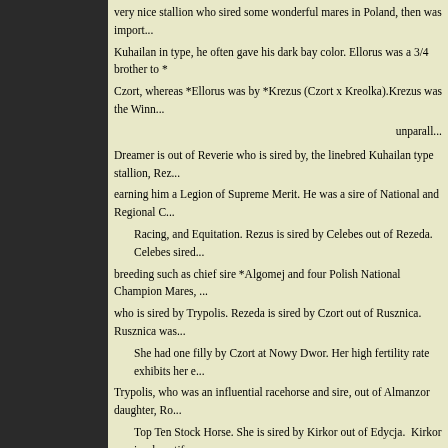very nice stallion who sired some wonderful mares in Poland, then was imported. Kuhailan in type, he often gave his dark bay color. Ellorus was a 3/4 brother to *Czort, whereas *Ellorus was by *Krezus (Czort x Kreolka). Krezus was the Winn... unparall...
Dreamer is out of Reverie who is sired by, the linebred Kuhailan type stallion, Rez... earning him a Legion of Supreme Merit. He was a sire of National and Regional C... Racing, and Equitation. Rezus is sired by Celebes out of Rezeda. Celebes sired breeding such as chief sire *Algomej and four Polish National Champion Mares, who is sired by Trypolis. Rezeda is sired by Czort out of Rusznica. Rusznica was... She had one filly by Czort at Nowy Dwor. Her high fertility rate exhibits her e... Trypolis, who was an influential racehorse and sire, out of Almanzor daughter, Ro... Top Ten Stock Horse. She is sired by Kirkor out of Edycja. Kirkor is a beautifu... exception producing mare, Carmen. She was one of the most valuable Polish M... Legenda's dam Edycja was sired by Naborr out of Estokada, an Amurath...
Dreamer had a stunning pure polish bay colt by Opus Zone  May 2011. Very exc...
DREAMER PASSED AWAY IN JULY 201...
[Figure (photo): Two photo thumbnails at the bottom of the page, each showing a small broken image icon placeholder.]